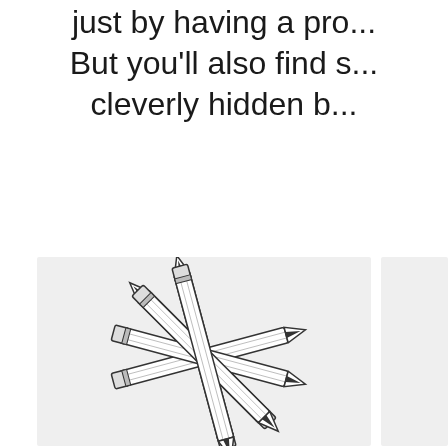just by having a pro...
But you'll also find s...
cleverly hidden b...
[Figure (illustration): A starburst arrangement of six pencils crossed at their centers, pointing in different directions, drawn in outline style on a light gray background.]
[Figure (illustration): Partial view of a second light gray panel on the right side of the page, cut off by the page edge.]